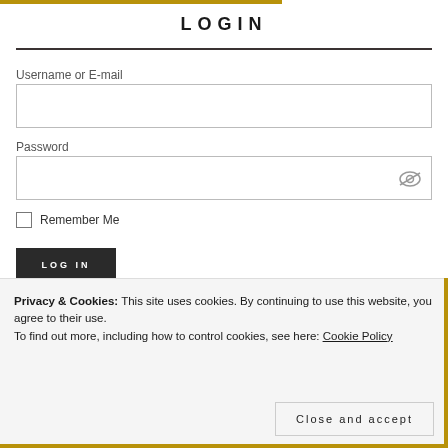LOGIN
Username or E-mail
Password
Remember Me
LOG IN
Privacy & Cookies: This site uses cookies. By continuing to use this website, you agree to their use.
To find out more, including how to control cookies, see here: Cookie Policy
Close and accept